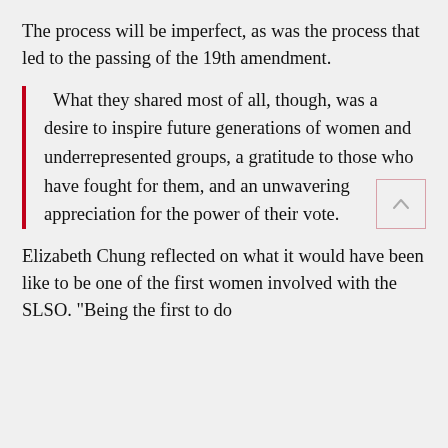The process will be imperfect, as was the process that led to the passing of the 19th amendment.
What they shared most of all, though, was a desire to inspire future generations of women and underrepresented groups, a gratitude to those who have fought for them, and an unwavering appreciation for the power of their vote.
Elizabeth Chung reflected on what it would have been like to be one of the first women involved with the SLSO. "Being the first to do